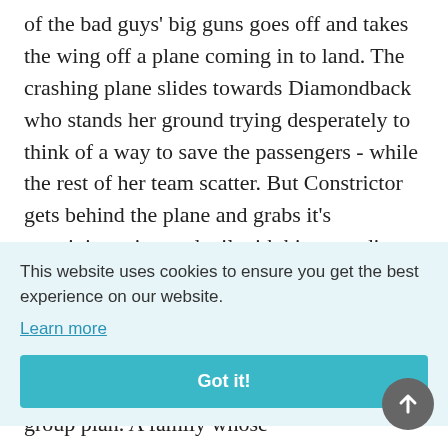of the bad guys' big guns goes off and takes the wing off a plane coming in to land. The crashing plane slides towards Diamondback who stands her ground trying desperately to think of a way to save the passengers - while the rest of her team scatter. But Constrictor gets behind the plane and grabs it's remaining wing and tail with his extending coils. And he
This website uses cookies to ensure you get the best experience on our website.
Learn more
Got it!
group plan. A family whose